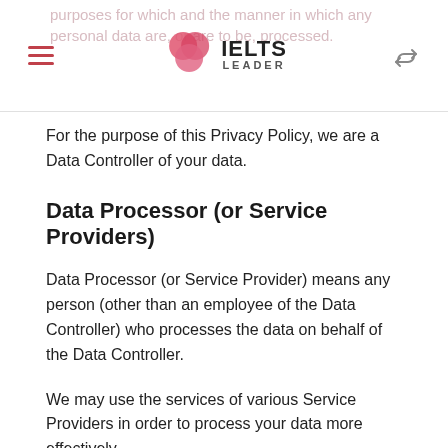IELTS LEADER
For the purpose of this Privacy Policy, we are a Data Controller of your data.
Data Processor (or Service Providers)
Data Processor (or Service Provider) means any person (other than an employee of the Data Controller) who processes the data on behalf of the Data Controller.
We may use the services of various Service Providers in order to process your data more effectively.